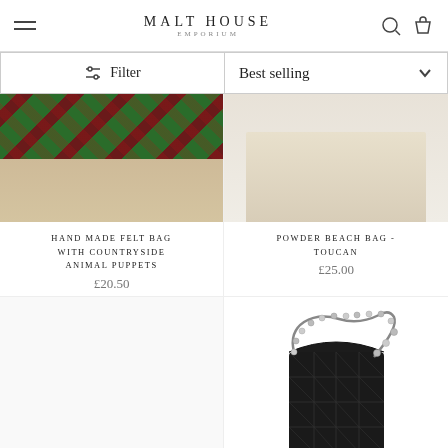MALT HOUSE EMPORIUM
Filter
Best selling
HAND MADE FELT BAG WITH COUNTRYSIDE ANIMAL PUPPETS
£20.50
POWDER BEACH BAG - TOUCAN
£25.00
[Figure (photo): Black quilted leather crossbody bag with chain and crystal strap]
SHOPPING BASKET
BLACK LEATHER CROSS